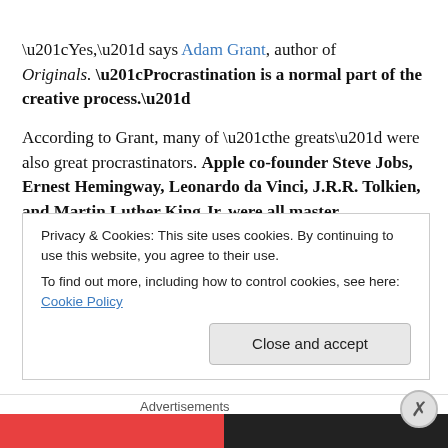“Yes,” says Adam Grant, author of Originals. “Procrastination is a normal part of the creative process.”
According to Grant, many of “the greats” were also great procrastinators. Apple co-founder Steve Jobs, Ernest Hemingway, Leonardo da Vinci, J.R.R. Tolkien, and Martin Luther King Jr. were all master procrastinators. Evidently, Martin Luther King Jr. “didn’t start writing his ‘I
Privacy & Cookies: This site uses cookies. By continuing to use this website, you agree to their use.
To find out more, including how to control cookies, see here: Cookie Policy
Close and accept
Advertisements